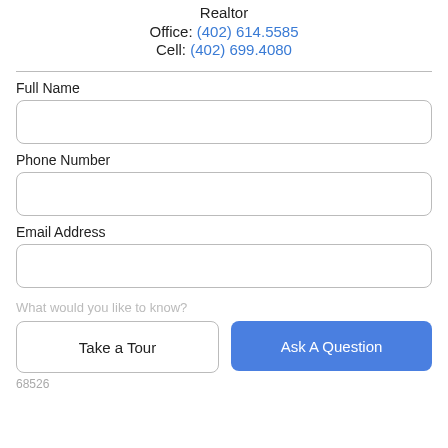Realtor
Office: (402) 614.5585
Cell: (402) 699.4080
Full Name
Phone Number
Email Address
What would you like to know?
Take a Tour
Ask A Question
68526